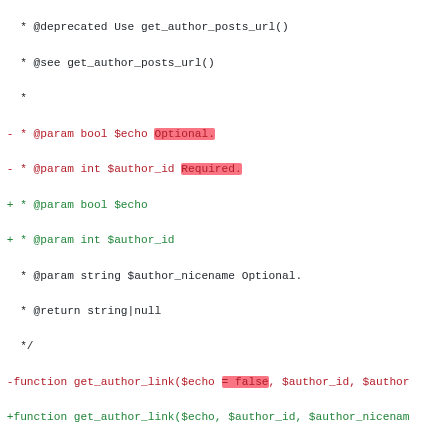[Figure (screenshot): A code diff screenshot showing changes to PHP WordPress functions, including get_author_link and link_pages, with added/removed lines highlighted in green and red, and specific text highlighted with colored backgrounds.]